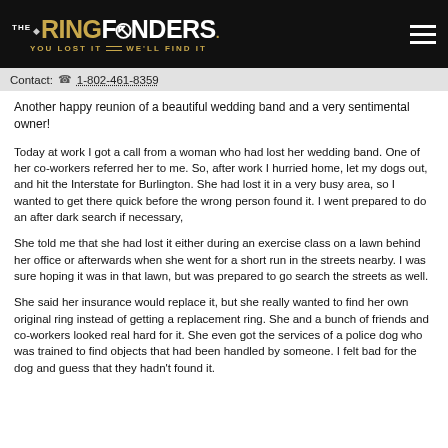THE RINGFINDERS. YOU LOST IT WE'LL FIND IT
Contact: 1-802-461-8359
Another happy reunion of a beautiful wedding band and a very sentimental owner!
Today at work I got a call from a woman who had lost her wedding band. One of her co-workers referred her to me. So, after work I hurried home, let my dogs out, and hit the Interstate for Burlington. She had lost it in a very busy area, so I wanted to get there quick before the wrong person found it. I went prepared to do an after dark search if necessary,
She told me that she had lost it either during an exercise class on a lawn behind her office or afterwards when she went for a short run in the streets nearby. I was sure hoping it was in that lawn, but was prepared to go search the streets as well.
She said her insurance would replace it, but she really wanted to find her own original ring instead of getting a replacement ring. She and a bunch of friends and co-workers looked real hard for it. She even got the services of a police dog who was trained to find objects that had been handled by someone. I felt bad for the dog and guess that they hadn't found it.